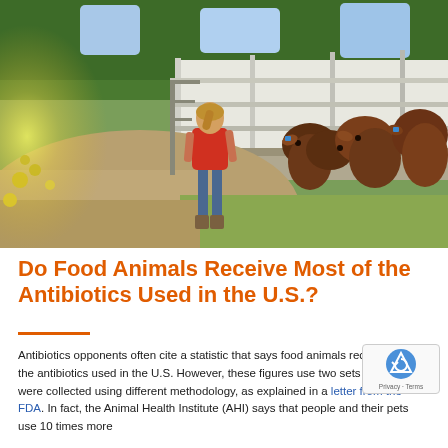[Figure (photo): A woman in a red shirt and jeans walks along a dirt path beside a cattle pen with brown cows. Green trees and yellow wildflowers are visible in the background. Sunlight flares in the left of the image.]
Do Food Animals Receive Most of the Antibiotics Used in the U.S.?
Antibiotics opponents often cite a statistic that says food animals receive 80% of the antibiotics used in the U.S. However, these figures use two sets of data that were collected using different methodology, as explained in a letter from the FDA. In fact, the Animal Health Institute (AHI) says that people and their pets use 10 times more...